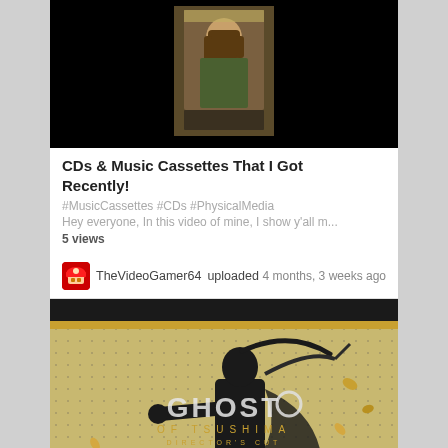[Figure (screenshot): Black thumbnail with album art showing a person with long hair in an outdoor/crowd scene, against black background]
CDs & Music Cassettes That I Got Recently!
#MusicCassettes #CDs #PhysicalMedia
Hey everyone, In this video of mine, I show y'all m...
5 views
TheVideoGamer64 uploaded
4 months, 3 weeks ago
[Figure (screenshot): Ghost of Tsushima Director's Cut game cover art showing samurai warrior in black armor against gold/tan background with falling leaves]
My Latest Finds That I Got Recently